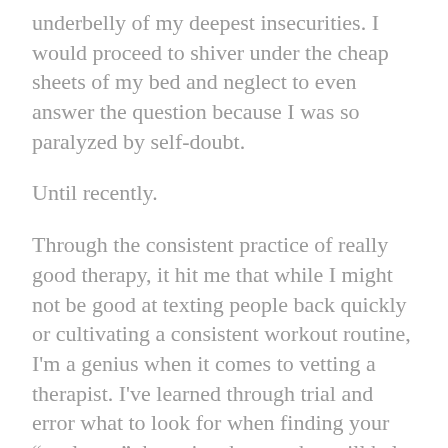underbelly of my deepest insecurities. I would proceed to shiver under the cheap sheets of my bed and neglect to even answer the question because I was so paralyzed by self-doubt.
Until recently.
Through the consistent practice of really good therapy, it hit me that while I might not be good at texting people back quickly or cultivating a consistent workout routine, I'm a genius when it comes to vetting a therapist. I've learned through trial and error what to look for when finding your “soulmate” therapist, the one that will help you turn your life around and give you the tools to actually live up to your glorious potential.
And today, finally, I'm going to share my gems of